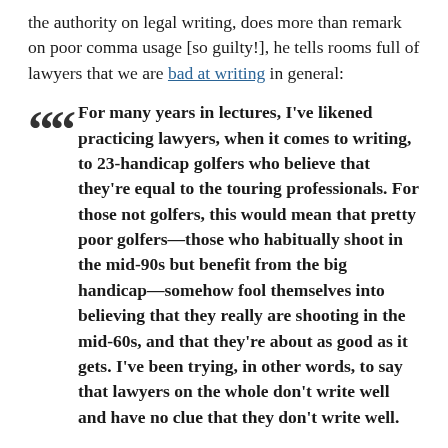the authority on legal writing, does more than remark on poor comma usage [so guilty!], he tells rooms full of lawyers that we are bad at writing in general:
For many years in lectures, I've likened practicing lawyers, when it comes to writing, to 23-handicap golfers who believe that they're equal to the touring professionals. For those not golfers, this would mean that pretty poor golfers—those who habitually shoot in the mid-90s but benefit from the big handicap—somehow fool themselves into believing that they really are shooting in the mid-60s, and that they're about as good as it gets. I've been trying, in other words, to say that lawyers on the whole don't write well and have no clue that they don't write well.
In the quoted article, Garner discusses Dunning-